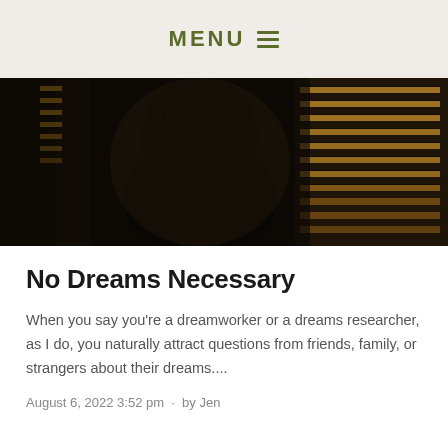MENU
[Figure (photo): A dark silhouette of a person looking out through venetian blinds, backlit with warm amber light filtering through the slats]
No Dreams Necessary
When you say you’re a dreamworker or a dreams researcher, as I do, you naturally attract questions from friends, family, or strangers about their dreams....
August 6, 2022 3:52 pm  ·  by Jen